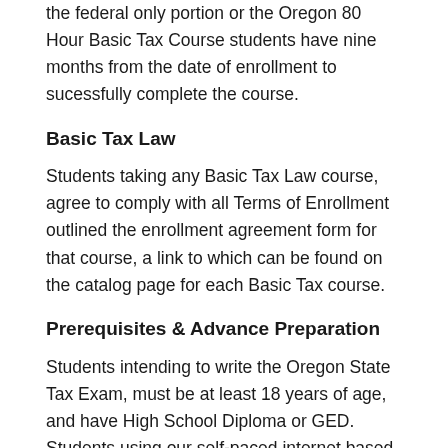the federal only portion or the Oregon 80 Hour Basic Tax Course students have nine months from the date of enrollment to sucessfully complete the course.
Basic Tax Law
Students taking any Basic Tax Law course, agree to comply with all Terms of Enrollment outlined the enrollment agreement form for that course, a link to which can be found on the catalog page for each Basic Tax course.
Prerequisites & Advance Preparation
Students intending to write the Oregon State Tax Exam, must be at least 18 years of age, and have High School Diploma or GED. Students using our self-paced internet based program should prepare for classes by downloading and printing course materials. For more information